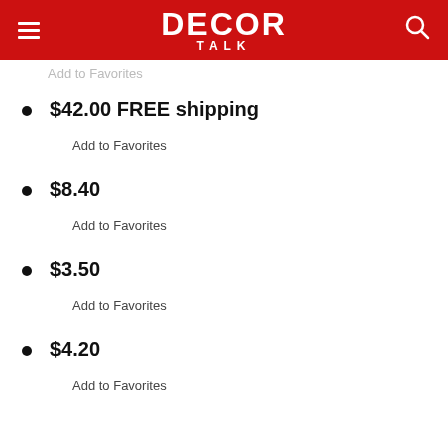DECOR TALK
Add to Favorites
$42.00 FREE shipping
Add to Favorites
$8.40
Add to Favorites
$3.50
Add to Favorites
$4.20
Add to Favorites